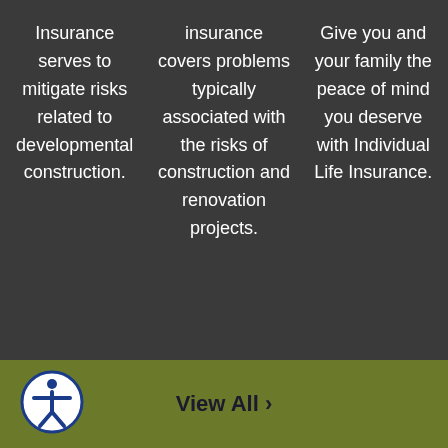Insurance serves to mitigate risks related to developmental construction.
insurance covers problems typically associated with the risks of construction and renovation projects.
Give you and your family the peace of mind you deserve with Individual Life Insurance.
View All ›